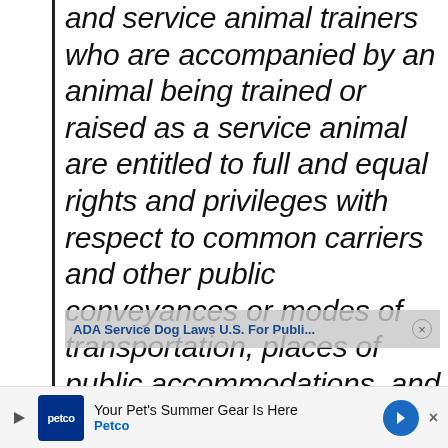and service animal trainers who are accompanied by an animal being trained or raised as a service animal are entitled to full and equal rights and privileges with respect to common carriers and other public conveyances or modes of transportation, places of public accommodations, and
[Figure (screenshot): Overlay notification bar showing 'ADA Service Dog Laws U.S. For Publi...' with a close button]
[Figure (screenshot): Advertisement banner for Petco: 'Your Pet's Summer Gear Is Here' with Petco logo and navigation arrow]